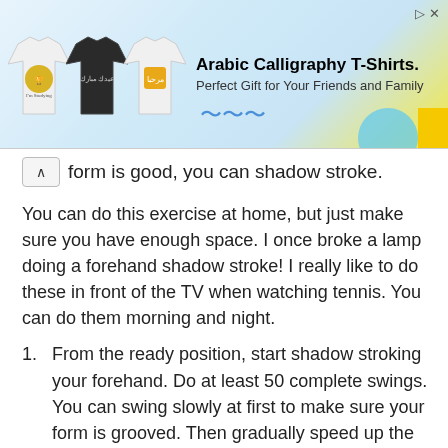[Figure (screenshot): Advertisement banner for Arabic Calligraphy T-Shirts showing three t-shirts and text 'Arabic Calligraphy T-Shirts. Perfect Gift for Your Friends and Family']
form is good, you can shadow stroke.
You can do this exercise at home, but just make sure you have enough space. I once broke a lamp doing a forehand shadow stroke! I really like to do these in front of the TV when watching tennis. You can do them morning and night.
From the ready position, start shadow stroking your forehand. Do at least 50 complete swings. You can swing slowly at first to make sure your form is grooved. Then gradually speed up the swing. You can use a racket weight to increase